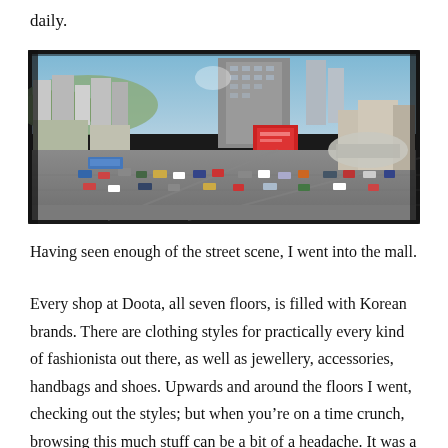daily.
[Figure (photo): Aerial panoramic view of a busy Korean city street intersection, with tall buildings including the Doota mall, heavy traffic, and urban landscape of Dongdaemun district in Seoul, South Korea.]
Having seen enough of the street scene, I went into the mall.
Every shop at Doota, all seven floors, is filled with Korean brands. There are clothing styles for practically every kind of fashionista out there, as well as jewellery, accessories, handbags and shoes. Upwards and around the floors I went, checking out the styles; but when you’re on a time crunch, browsing this much stuff can be a bit of a headache. It was a bit of a relief to reach the roof garden on the top floor and ease my eyes with a landscape view of Dongdaemun. The